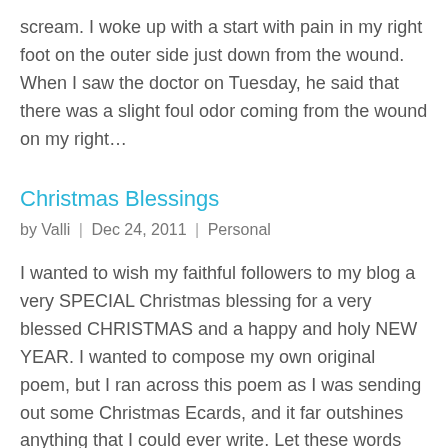scream. I woke up with a start with pain in my right foot on the outer side just down from the wound. When I saw the doctor on Tuesday, he said that there was a slight foul odor coming from the wound on my right…
Christmas Blessings
by Valli | Dec 24, 2011 | Personal
I wanted to wish my faithful followers to my blog a very SPECIAL Christmas blessing for a very blessed CHRISTMAS and a happy and holy NEW YEAR. I wanted to compose my own original poem, but I ran across this poem as I was sending out some Christmas Ecards, and it far outshines anything that I could ever write. Let these words sink into your minds and